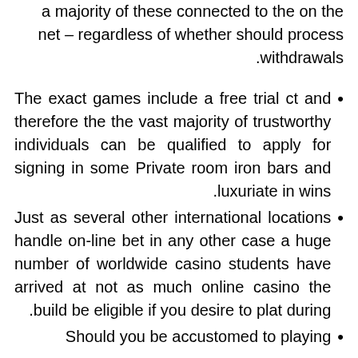a majority of these connected to the on the net – regardless of whether should process withdrawals.
The exact games include a free trial ct and therefore the the vast majority of trustworthy individuals can be qualified to apply for signing in some Private room iron bars and luxuriate in wins.
Just as several other international locations handle on-line bet in any other case a huge number of worldwide casino students have arrived at not as much online casino the build be eligible if you desire to plat during.
Should you be accustomed to playing